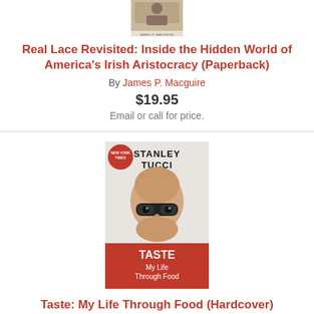[Figure (photo): Book cover thumbnail for Real Lace Revisited with author name JAMES P. MACGUIRE at bottom]
Real Lace Revisited: Inside the Hidden World of America's Irish Aristocracy (Paperback)
By James P. Macguire
$19.95
Email or call for price.
[Figure (photo): Book cover for Taste: My Life Through Food by Stanley Tucci. Shows Stanley Tucci's face with glasses. Orange bottom panel with TASTE My Life Through Food text. NEW YORK TIMES badge.]
Taste: My Life Through Food (Hardcover)
By Stanley Tucci
$28.00
ADD TO CART
ADD TO WISH LIST